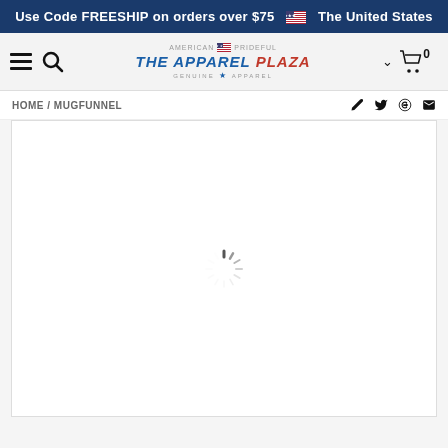Use Code FREESHIP on orders over $75 🇺🇸 The United States
[Figure (logo): The Apparel Plaza logo with American Prideful branding, US flag, and star motif]
HOME / MUGFUNNEL
[Figure (screenshot): Main content area showing a loading spinner (circular dashed spinner) on white background]